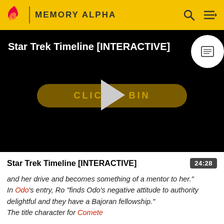MEMORY ALPHA
[Figure (screenshot): Video player showing Star Trek Timeline [INTERACTIVE] with a dark background, a golden 'CLICK TO BEGIN' button with a play triangle overlaid, and a white circle badge in top-right corner.]
Star Trek Timeline [INTERACTIVE]
and her drive and becomes something of a mentor to her." In Odo's entry, Ro "finds Odo's negative attitude to authority delightful and they have a Bajoran fellowship." The title character for Comete well that is the are read Comete